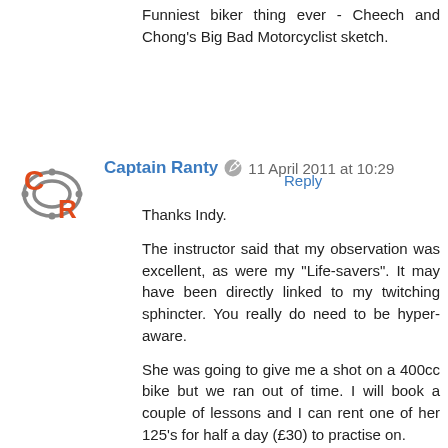Funniest biker thing ever - Cheech and Chong's Big Bad Motorcyclist sketch.
Reply
[Figure (logo): Captain Ranty blog avatar with C and R letters and chain graphic in orange and grey]
Captain Ranty  11 April 2011 at 10:29
Thanks Indy.

The instructor said that my observation was excellent, as were my "Life-savers". It may have been directly linked to my twitching sphincter. You really do need to be hyper-aware.

She was going to give me a shot on a 400cc bike but we ran out of time. I will book a couple of lessons and I can rent one of her 125's for half a day (£30) to practise on.

What surprised me was just how fast 30mph feels on a bike. I also had (in amongst the anxiety) a real sense of freedom on a bike that you don't get in a car.

CR